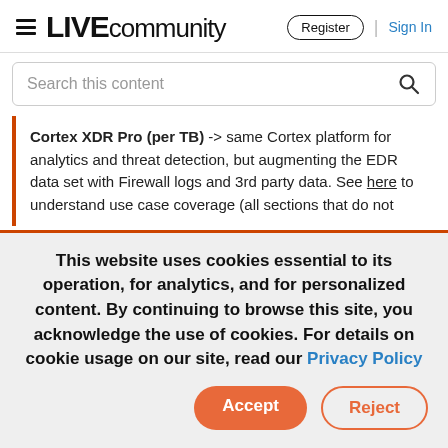LIVE community — Register | Sign In
Search this content
Cortex XDR Pro (per TB) -> same Cortex platform for analytics and threat detection, but augmenting the EDR data set with Firewall logs and 3rd party data. See here to understand use case coverage (all sections that do not
This website uses cookies essential to its operation, for analytics, and for personalized content. By continuing to browse this site, you acknowledge the use of cookies. For details on cookie usage on our site, read our Privacy Policy
Accept   Reject